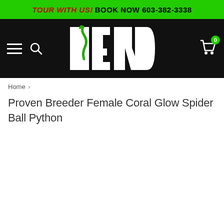TOUR WITH US! BOOK NOW 603-382-3338
[Figure (logo): NERD logo in white text on black background with green snake graphic]
Home >
Proven Breeder Female Coral Glow Spider Ball Python